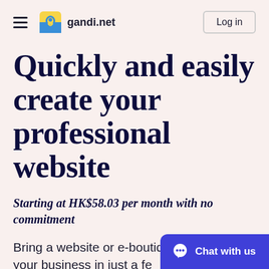gandi.net  Log in
Quickly and easily create your professional website
Starting at HK$58.03 per month with no commitment
Bring a website or e-boutique to life for your business in just a few
Chat with us